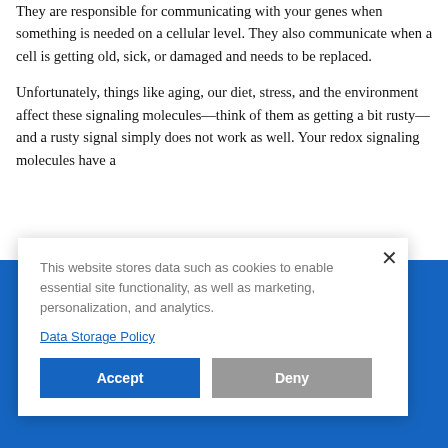They are responsible for communicating with your genes when something is needed on a cellular level. They also communicate when a cell is getting old, sick, or damaged and needs to be replaced.
Unfortunately, things like aging, our diet, stress, and the environment affect these signaling molecules—think of them as getting a bit rusty—and a rusty signal simply does not work as well. Your redox signaling molecules have a
ates and t intended y disease. ts products onavirus, ation of ted.
This website stores data such as cookies to enable essential site functionality, as well as marketing, personalization, and analytics.
Data Storage Policy
Accept
Deny